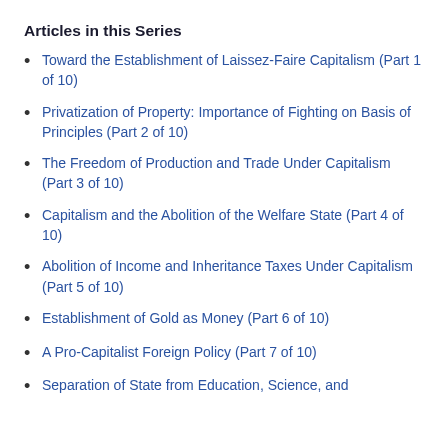Articles in this Series
Toward the Establishment of Laissez-Faire Capitalism (Part 1 of 10)
Privatization of Property: Importance of Fighting on Basis of Principles (Part 2 of 10)
The Freedom of Production and Trade Under Capitalism (Part 3 of 10)
Capitalism and the Abolition of the Welfare State (Part 4 of 10)
Abolition of Income and Inheritance Taxes Under Capitalism (Part 5 of 10)
Establishment of Gold as Money (Part 6 of 10)
A Pro-Capitalist Foreign Policy (Part 7 of 10)
Separation of State from Education, Science, and